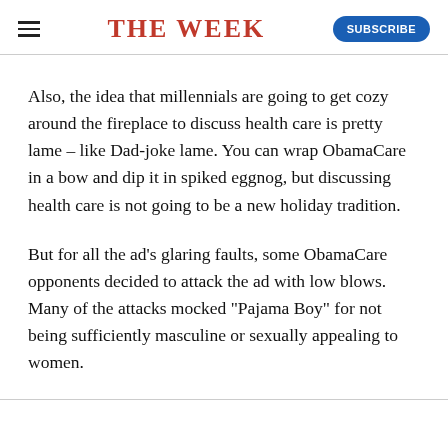THE WEEK
Also, the idea that millennials are going to get cozy around the fireplace to discuss health care is pretty lame – like Dad-joke lame. You can wrap ObamaCare in a bow and dip it in spiked eggnog, but discussing health care is not going to be a new holiday tradition.
But for all the ad's glaring faults, some ObamaCare opponents decided to attack the ad with low blows. Many of the attacks mocked "Pajama Boy" for not being sufficiently masculine or sexually appealing to women.